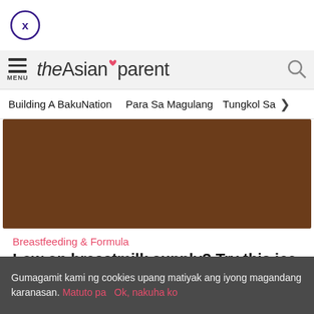[Figure (logo): Close button: circle with X, purple outline]
theAsianparent — navigation bar with menu icon and search icon
Building A BakuNation   Para Sa Magulang   Tungkol Sa >
[Figure (photo): Brown/chocolate colored banner image]
Breastfeeding & Formula
Low on breastmilk supply? Try this ice cream flavor for a boost!
Tools  Articles  [Home icon]  Feed  Poll
Gumagamit kami ng cookies upang matiyak ang iyong magandang karanasan. Matuto pa   Ok, nakuha ko